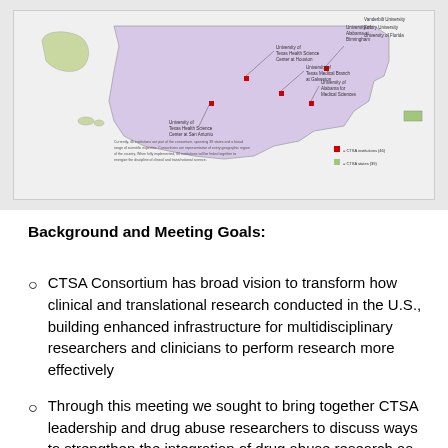[Figure (map): Map of the United States showing CTSA consortium institutions across multiple states. Various university names are labeled with lines pointing to their locations. Legend shows red squares for CTSA institutions and green squares for CTSA states. Text notes that currently 46 institutions are part of the consortium spanning 39 states.]
Background and Meeting Goals:
CTSA Consortium has broad vision to transform how clinical and translational research conducted in the U.S., building enhanced infrastructure for multidisciplinary researchers and clinicians to perform research more effectively
Through this meeting we sought to bring together CTSA leadership and drug abuse researchers to discuss ways to strengthen the integration of drug abuse research as part of the CTSA Consortium's